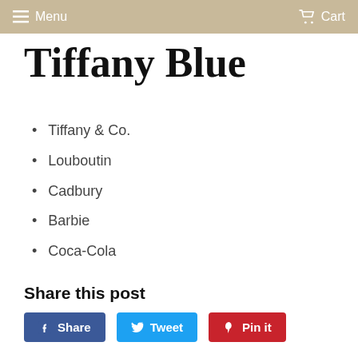Menu  Cart
Tiffany Blue
Tiffany & Co.
Louboutin
Cadbury
Barbie
Coca-Cola
Share this post
Share  Tweet  Pin it